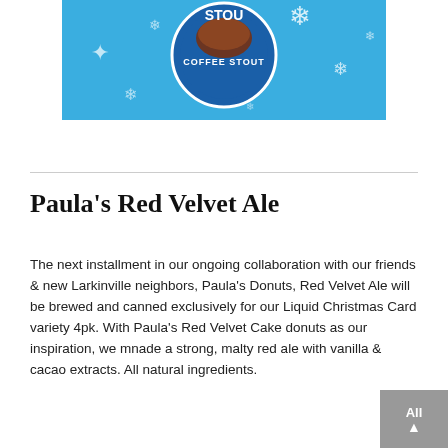[Figure (photo): Partial view of a beer can or label with a winter/holiday theme: blue background with snowflakes, circular logo reading 'COFFEE STOUT' in white and brown text.]
Paula's Red Velvet Ale
The next installment in our ongoing collaboration with our friends & new Larkinville neighbors, Paula's Donuts, Red Velvet Ale will be brewed and canned exclusively for our Liquid Christmas Card variety 4pk. With Paula's Red Velvet Cake donuts as our inspiration, we mnade a strong, malty red ale with vanilla & cacao extracts. All natural ingredients.